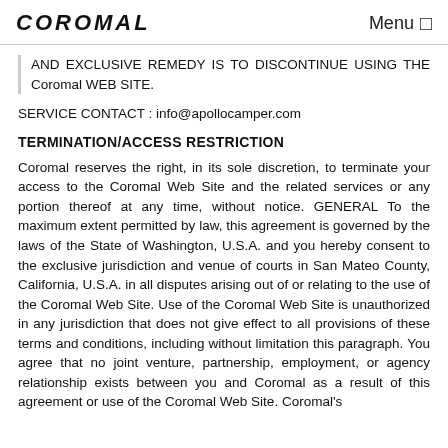COROMAL   Menu
AND EXCLUSIVE REMEDY IS TO DISCONTINUE USING THE Coromal WEB SITE.
SERVICE CONTACT : info@apollocamper.com
TERMINATION/ACCESS RESTRICTION
Coromal reserves the right, in its sole discretion, to terminate your access to the Coromal Web Site and the related services or any portion thereof at any time, without notice. GENERAL To the maximum extent permitted by law, this agreement is governed by the laws of the State of Washington, U.S.A. and you hereby consent to the exclusive jurisdiction and venue of courts in San Mateo County, California, U.S.A. in all disputes arising out of or relating to the use of the Coromal Web Site. Use of the Coromal Web Site is unauthorized in any jurisdiction that does not give effect to all provisions of these terms and conditions, including without limitation this paragraph. You agree that no joint venture, partnership, employment, or agency relationship exists between you and Coromal as a result of this agreement or use of the Coromal Web Site. Coromal's